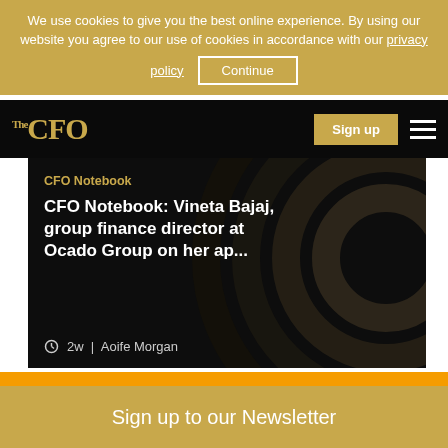We use cookies to give you the best online experience. By using our website you agree to our use of cookies in accordance with our privacy policy
Continue
[Figure (logo): The CFO logo in gold serif font on black background]
Sign up
CFO Notebook
CFO Notebook: Vineta Bajaj, group finance director at Ocado Group on her ap...
2w | Aoife Morgan
[Figure (photo): Orange promotional banner with partial white laptop image visible]
Sign up to our Newsletter